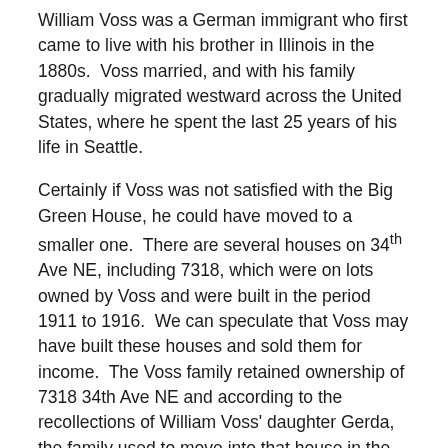William Voss was a German immigrant who first came to live with his brother in Illinois in the 1880s. Voss married, and with his family gradually migrated westward across the United States, where he spent the last 25 years of his life in Seattle.
Certainly if Voss was not satisfied with the Big Green House, he could have moved to a smaller one. There are several houses on 34th Ave NE, including 7318, which were on lots owned by Voss and were built in the period 1911 to 1916. We can speculate that Voss may have built these houses and sold them for income. The Voss family retained ownership of 7318 34th Ave NE and according to the recollections of William Voss' daughter Gerda, the family used to move into that house in the wintertime because it was smaller and easier to heat.